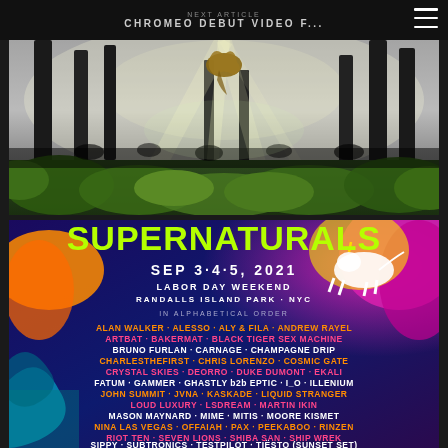NEXT ARTICLE  CHROMEO DEBUT VIDEO F...
[Figure (photo): Concert stage photo with dramatic light rays filtering through trees/forest, crowd visible in front of stage with green foliage and misty atmosphere]
[Figure (infographic): Supernaturals festival poster: SEP 3·4·5, 2021 LABOR DAY WEEKEND RANDALLS ISLAND PARK · NYC. Artist lineup in alphabetical order including ALAN WALKER, ALESSO, ALY & FILA, ANDREW RAYEL, ARTBAT, BAKERMAT, BLACK TIGER SEX MACHINE, BRUNO FURLAN, CARNAGE, CHAMPAGNE DRIP, CHARLESTHEFIRST, CHRIS LORENZO, COSMIC GATE, CRYSTAL SKIES, DEORRO, DUKE DUMONT, EKALI, FATUM, GAMMER, GHASTLY b2b EPTIC, I_O, ILLENIUM, JOHN SUMMIT, JVNA, KASKADE, LIQUID STRANGER, LOUD LUXURY, LSDREAM, MARTIN IKIN, MASON MAYNARD, MIME, MITIS, MOORE KISMET, NINA LAS VEGAS, OFFAIAH, PAX, PEEKABOO, RINZEN, RIOT TEN, SEVEN LIONS, SHIBA SAN, SHIP WREK, SIPPY, SUBTRONICS, TESTPILOT, TIËSTO (SUNSET SET)]